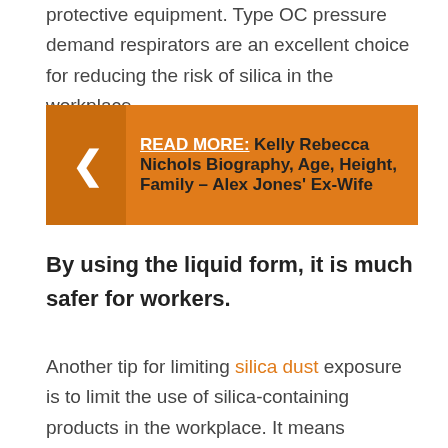protective equipment. Type OC pressure demand respirators are an excellent choice for reducing the risk of silica in the workplace.
[Figure (infographic): Orange banner with arrow icon on left and READ MORE link followed by text: Kelly Rebecca Nichols Biography, Age, Height, Family – Alex Jones' Ex-Wife]
By using the liquid form, it is much safer for workers.
Another tip for limiting silica dust exposure is to limit the use of silica-containing products in the workplace. It means reducing the use of materials that contain silica. This method is called